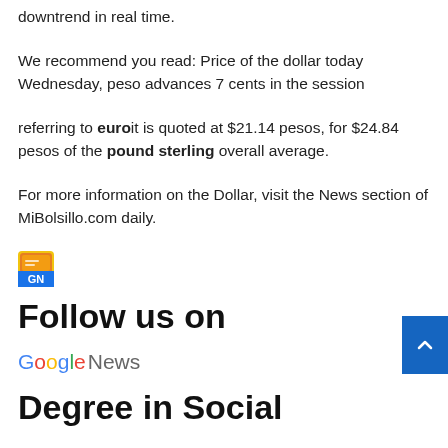downtrend in real time.
We recommend you read: Price of the dollar today Wednesday, peso advances 7 cents in the session
referring to euro it is quoted at $21.14 pesos, for $24.84 pesos of the pound sterling overall average.
For more information on the Dollar, visit the News section of MiBolsillo.com daily.
[Figure (logo): Google News icon/logo small square]
Follow us on
Google News
Degree in Social